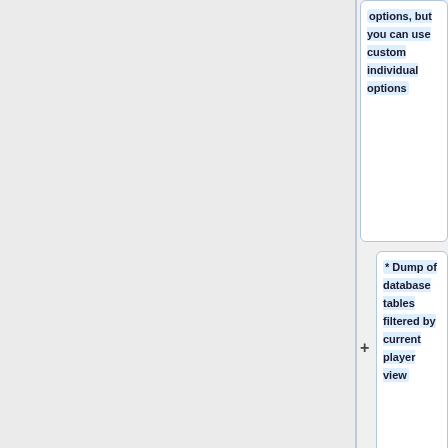options, but you can use custom individual options
* Dump of database tables filtered by current player view
* To be fancy you can also include php constans so you can access them in js as well, example not included
<pre>